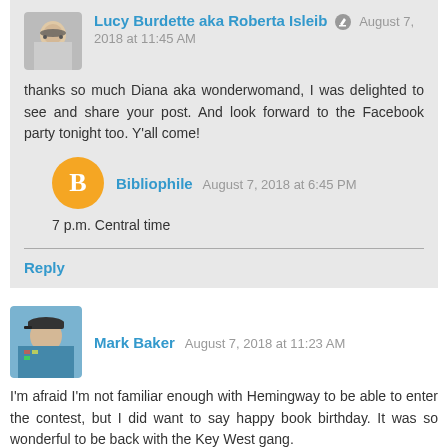Lucy Burdette aka Roberta Isleib [edit] August 7, 2018 at 11:45 AM
thanks so much Diana aka wonderwomand, I was delighted to see and share your post. And look forward to the Facebook party tonight too. Y'all come!
Bibliophile August 7, 2018 at 6:45 PM
7 p.m. Central time
Reply
Mark Baker August 7, 2018 at 11:23 AM
I'm afraid I'm not familiar enough with Hemingway to be able to enter the contest, but I did want to say happy book birthday. It was so wonderful to be back with the Key West gang.
Reply